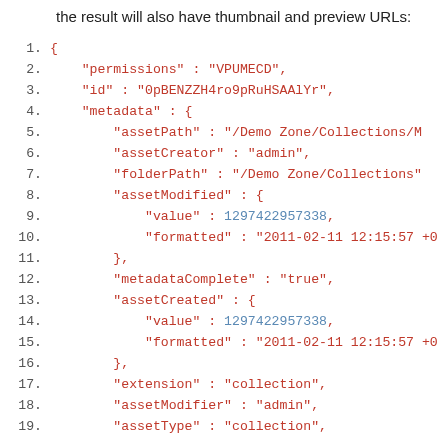the result will also have thumbnail and preview URLs:
1.  {
2.      "permissions" : "VPUMECD",
3.      "id" : "0pBENZZH4ro9pRuHSAAlYr",
4.      "metadata" : {
5.          "assetPath" : "/Demo Zone/Collections/M
6.          "assetCreator" : "admin",
7.          "folderPath" : "/Demo Zone/Collections"
8.          "assetModified" : {
9.              "value" : 1297422957338,
10.             "formatted" : "2011-02-11 12:15:57 +0
11.         },
12.         "metadataComplete" : "true",
13.         "assetCreated" : {
14.             "value" : 1297422957338,
15.             "formatted" : "2011-02-11 12:15:57 +0
16.         },
17.         "extension" : "collection",
18.         "assetModifier" : "admin",
19.         "assetType" : "collection",